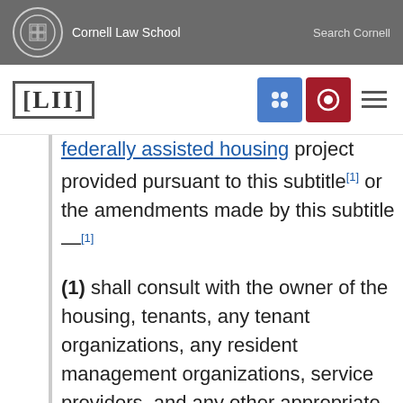Cornell Law School   Search Cornell
federally assisted housing project provided pursuant to this subtitle [1] or the amendments made by this subtitle —[1]
(1) shall consult with the owner of the housing, tenants, any tenant organizations, any resident management organizations, service providers, and any other appropriate persons, to identify the particular needs and characteristics of elderly and disabled families who reside in the project and any supportive services related to such needs and